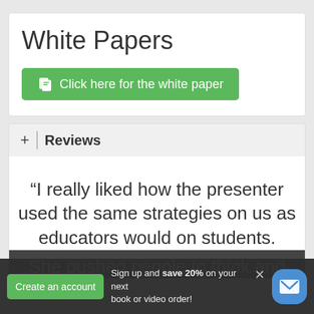White Papers
Click here for the white paper
+ | Reviews
“I really liked how the presenter used the same strategies on us as educators would on students. She pushed people to think and participate. That was very effective.”
Create an account   Sign up and save 20% on your next book or video order!